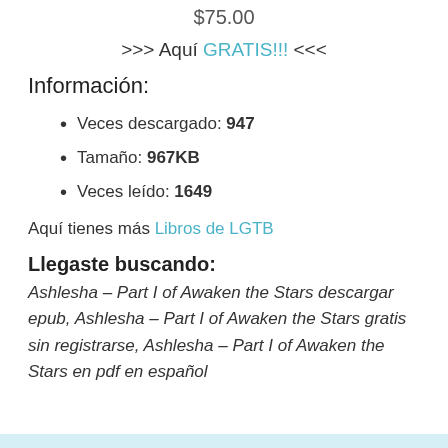$75.00
>>> Aquí GRATIS!!! <<<
Información:
Veces descargado: 947
Tamaño: 967KB
Veces leído: 1649
Aquí tienes más Libros de LGTB
Llegaste buscando:
Ashlesha – Part I of Awaken the Stars descargar epub, Ashlesha – Part I of Awaken the Stars gratis sin registrarse, Ashlesha – Part I of Awaken the Stars en pdf en español